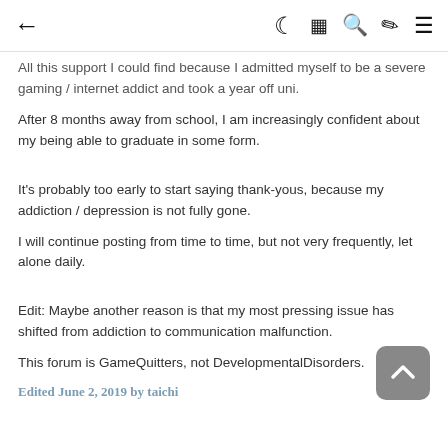← ☽ 🗞 🔍 ✏ ≡
All this support I could find because I admitted myself to be a severe gaming / internet addict and took a year off uni.
After 8 months away from school, I am increasingly confident about my being able to graduate in some form.
It's probably too early to start saying thank-yous, because my addiction / depression is not fully gone.
I will continue posting from time to time, but not very frequently, let alone daily.
Edit: Maybe another reason is that my most pressing issue has shifted from addiction to communication malfunction.
This forum is GameQuitters, not DevelopmentalDisorders.
Edited June 2, 2019 by taichi